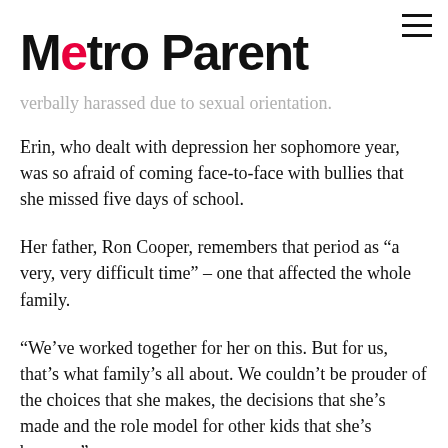Metro Parent
verbally harassed due to sexual orientation.
Erin, who dealt with depression her sophomore year, was so afraid of coming face-to-face with bullies that she missed five days of school.
Her father, Ron Cooper, remembers that period as “a very, very difficult time” – one that affected the whole family.
“We’ve worked together for her on this. But for us, that’s what family’s all about. We couldn’t be prouder of the choices that she makes, the decisions that she’s made and the role model for other kids that she’s become.”